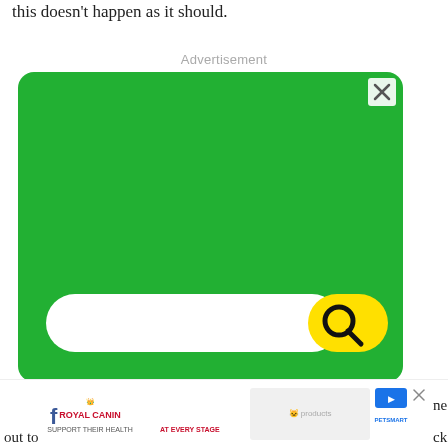this doesn't happen as it should.
Advertisement
[Figure (screenshot): Green advertisement banner with a search bar at the bottom. The search bar has a white rounded rectangle input field and a yellow rounded button with a black magnifying glass icon. There is an X close button in the top right corner of the ad.]
[Figure (screenshot): Royal Canin advertisement banner showing cat food products. Text reads: ROYAL CANIN SUPPORT THEIR HEALTH AT EVERY STAGE. Shows cat food packages and PetSmart logo with a play/stop button icon.]